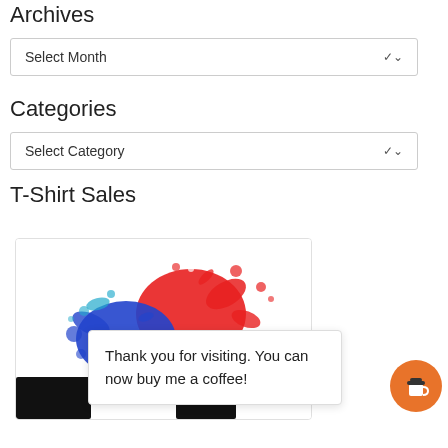Archives
Select Month
Categories
Select Category
T-Shirt Sales
[Figure (illustration): Colorful paint splatter image showing red, blue, yellow, and cyan splashes on white background, with partial black text visible below]
Thank you for visiting. You can now buy me a coffee!
[Figure (logo): Orange circular coffee cup icon button in bottom right corner]